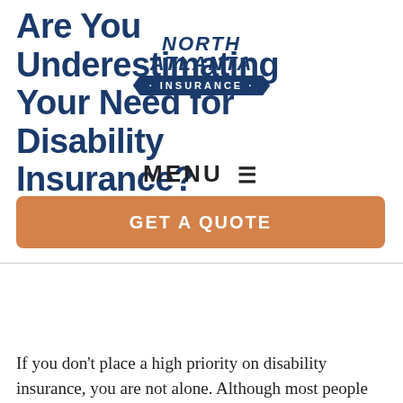Are You Underestimating Your Need for Disability Insurance?
[Figure (logo): North Atlanta Insurance logo with banner shape]
MENU ≡
ARTICLE ORIGINALLY POSTED JUNE 22, 2022 ON
WWW.INSURANCENEIGHBOR.COM
GET A QUOTE
If you don't place a high priority on disability insurance, you are not alone. Although most people